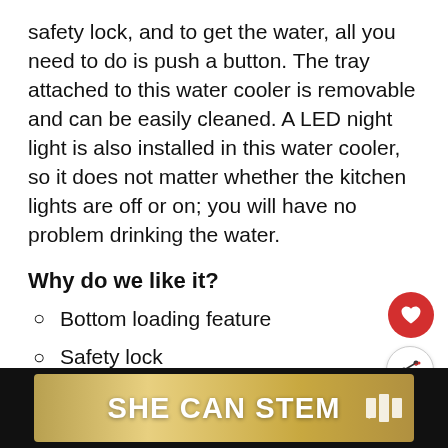safety lock, and to get the water, all you need to do is push a button. The tray attached to this water cooler is removable and can be easily cleaned. A LED night light is also installed in this water cooler, so it does not matter whether the kitchen lights are off or on; you will have no problem drinking the water.
Why do we like it?
Bottom loading feature
Safety lock
LED night light
Compact
[Figure (infographic): Red circular heart/like button icon]
[Figure (infographic): Share button with person silhouette overlay]
[Figure (infographic): WHAT'S NEXT panel with thumbnail and text '5 Best Beverage...']
[Figure (infographic): SHE CAN STEM banner advertisement on dark background with gold/beige frame]